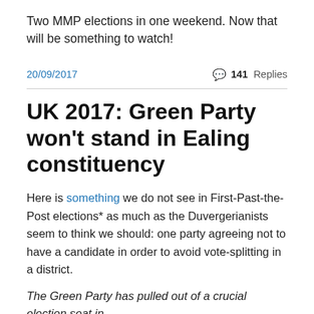Two MMP elections in one weekend. Now that will be something to watch!
20/09/2017
💬 141 Replies
UK 2017: Green Party won't stand in Ealing constituency
Here is something we do not see in First-Past-the-Post elections* as much as the Duvergerianists seem to think we should: one party agreeing not to have a candidate in order to avoid vote-splitting in a district.
The Green Party has pulled out of a crucial election seat in